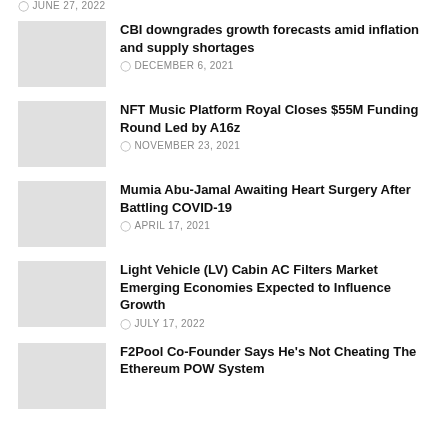JUNE 27, 2022
CBI downgrades growth forecasts amid inflation and supply shortages
DECEMBER 6, 2021
NFT Music Platform Royal Closes $55M Funding Round Led by A16z
NOVEMBER 23, 2021
Mumia Abu-Jamal Awaiting Heart Surgery After Battling COVID-19
APRIL 17, 2021
Light Vehicle (LV) Cabin AC Filters Market Emerging Economies Expected to Influence Growth
JULY 17, 2022
F2Pool Co-Founder Says He's Not Cheating The Ethereum POW System